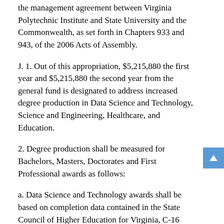the management agreement between Virginia Polytechnic Institute and State University and the Commonwealth, as set forth in Chapters 933 and 943, of the 2006 Acts of Assembly.
J. 1. Out of this appropriation, $5,215,880 the first year and $5,215,880 the second year from the general fund is designated to address increased degree production in Data Science and Technology, Science and Engineering, Healthcare, and Education.
2. Degree production shall be measured for Bachelors, Masters, Doctorates and First Professional awards as follows:
a. Data Science and Technology awards shall be based on completion data contained in the State Council of Higher Education for Virginia, C-16 completion report;